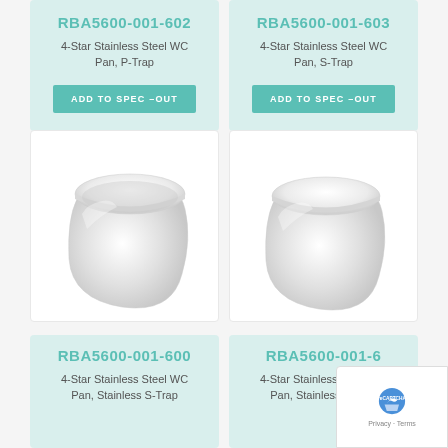RBA5600-001-602
4-Star Stainless Steel WC Pan, P-Trap
ADD TO SPEC-OUT
RBA5600-001-603
4-Star Stainless Steel WC Pan, S-Trap
ADD TO SPEC-OUT
[Figure (photo): White ceramic wall-hung toilet pan with soft-close seat, viewed from front-left angle]
[Figure (photo): White ceramic wall-hung toilet pan with soft-close seat, viewed from front-left angle]
RBA5600-001-600
4-Star Stainless Steel WC Pan, (partially visible)
RBA5600-001-6(partially visible)
4-Star Stainless Steel WC Pan, (partially visible)